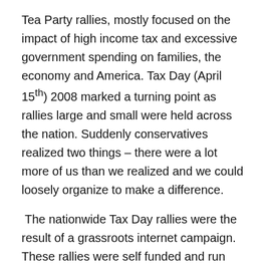Tea Party rallies, mostly focused on the impact of high income tax and excessive government spending on families, the economy and America. Tax Day (April 15th) 2008 marked a turning point as rallies large and small were held across the nation. Suddenly conservatives realized two things – there were a lot more of us than we realized and we could loosely organize to make a difference.
The nationwide Tax Day rallies were the result of a grassroots internet campaign. These rallies were self funded and run almost exclusively at the local level. I know – I was one of the organizers of the St. Paul MN rally held on the steps of the state capitol building. Our rally drew over 7,000 attendees that day. Even in liberal Minnesota there were signs of the coming backlash.